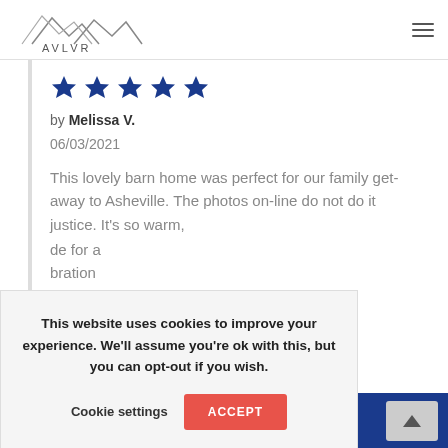AVLVR
[Figure (logo): AVLVR mountain logo with stylized peaks above the text AVLVR]
★★★★★ (5 blue stars)
by Melissa V.
06/03/2021
This lovely barn home was perfect for our family get-away to Asheville. The photos on-line do not do it justice. It's so warm, [obscured: ...de for a ...bration ...at it ...ately]
This website uses cookies to improve your experience. We'll assume you're ok with this, but you can opt-out if you wish.   Cookie settings   ACCEPT